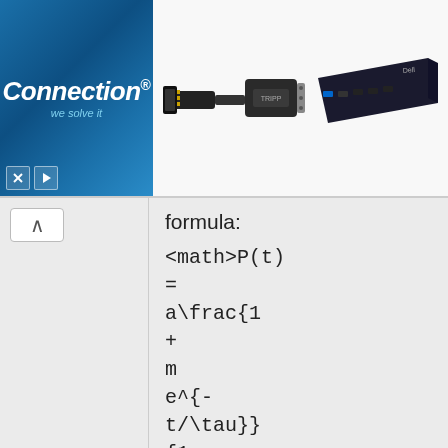[Figure (screenshot): Connection brand advertisement banner with logo on blue gradient background on left, two product images (DisplayPort to VGA adapter cable and a docking station) on white/grey background on right]
formula:
^ (collapse/up arrow button on left panel)